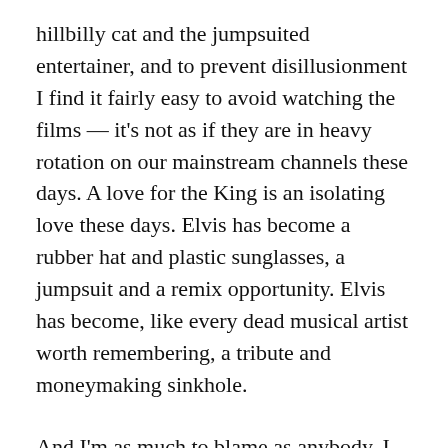hillbilly cat and the jumpsuited entertainer, and to prevent disillusionment I find it fairly easy to avoid watching the films — it's not as if they are in heavy rotation on our mainstream channels these days. A love for the King is an isolating love these days. Elvis has become a rubber hat and plastic sunglasses, a jumpsuit and a remix opportunity. Elvis has become, like every dead musical artist worth remembering, a tribute and moneymaking sinkhole.
And I'm as much to blame as anybody, I own an officially licensed Blue Hawaii Hawaiian shirt (see what they did there?), an 'Elvis pig' (in mitigation, a gift), and book-after-book both scurrilous and fanboy. But I love the King, it's